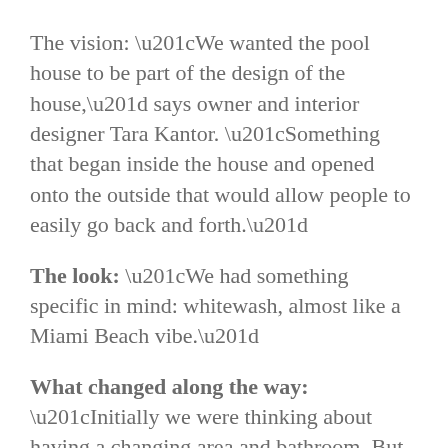The vision: “We wanted the pool house to be part of the design of the house,” says owner and interior designer Tara Kantor. “Something that began inside the house and opened onto the outside that would allow people to easily go back and forth.”
The look: “We had something specific in mind: whitewash, almost like a Miami Beach vibe.”
What changed along the way: “Initially we were thinking about having a changing area and bathroom. But there is a bathroom right next to this room inside the house,” Kantor says. “We also thought about having a table. But we ruled that